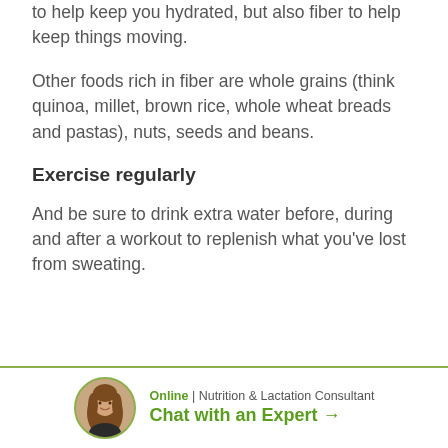to help keep you hydrated, but also fiber to help keep things moving.
Other foods rich in fiber are whole grains (think quinoa, millet, brown rice, whole wheat breads and pastas), nuts, seeds and beans.
Exercise regularly
And be sure to drink extra water before, during and after a workout to replenish what you’ve lost from sweating.
[Figure (other): Footer with circular avatar photo of a woman, Online badge, and Chat with an Expert link for Nutrition & Lactation Consultant]